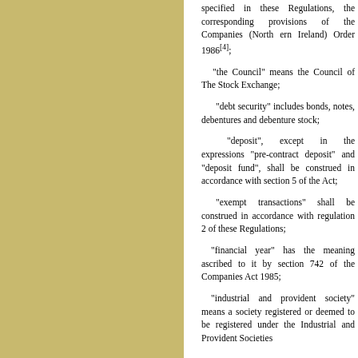specified in these Regulations, the corresponding provisions of the Companies (North ern Ireland) Order 1986[4];
"the Council" means the Council of The Stock Exchange;
"debt security" includes bonds, notes, debentures and debenture stock;
"deposit", except in the expressions "pre-contract deposit" and "deposit fund", shall be construed in accordance with section 5 of the Act;
"exempt transactions" shall be construed in accordance with regulation 2 of these Regulations;
"financial year" has the meaning ascribed to it by section 742 of the Companies Act 1985;
"industrial and provident society" means a society registered or deemed to be registered under the Industrial and Provident Societies